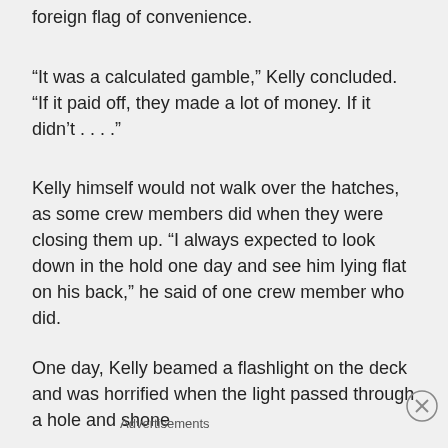foreign flag of convenience.
“It was a calculated gamble,” Kelly concluded. “If it paid off, they made a lot of money. If it didn’t . . . .”
Kelly himself would not walk over the hatches, as some crew members did when they were closing them up. “I always expected to look down in the hold one day and see him lying flat on his back,” he said of one crew member who did.
One day, Kelly beamed a flashlight on the deck and was horrified when the light passed through a hole and shone
Advertisements